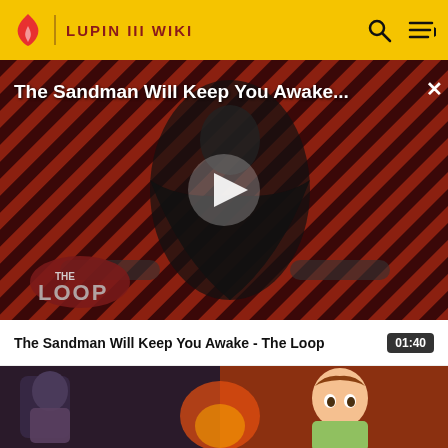LUPIN III WIKI
[Figure (screenshot): Video player showing 'The Sandman Will Keep You Awake... - The Loop' with a dark figure against diagonal red/black striped background, play button in center, THE LOOP logo at bottom left]
The Sandman Will Keep You Awake - The Loop
01:40
[Figure (screenshot): Anime screenshot showing two characters - a dark-haired male figure on left and a young female character on right with orange/red background]